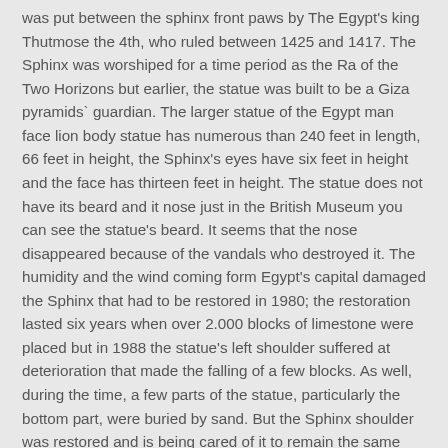was put between the sphinx front paws by The Egypt's king Thutmose the 4th, who ruled between 1425 and 1417. The Sphinx was worshiped for a time period as the Ra of the Two Horizons but earlier, the statue was built to be a Giza pyramids` guardian. The larger statue of the Egypt man face lion body statue has numerous than 240 feet in length, 66 feet in height, the Sphinx's eyes have six feet in height and the face has thirteen feet in height. The statue does not have its beard and it nose just in the British Museum you can see the statue's beard. It seems that the nose disappeared because of the vandals who destroyed it. The humidity and the wind coming form Egypt's capital damaged the Sphinx that had to be restored in 1980; the restoration lasted six years when over 2.000 blocks of limestone were placed but in 1988 the statue's left shoulder suffered at deterioration that made the falling of a few blocks. As well, during the time, a few parts of the statue, particularly the bottom part, were buried by sand. But the Sphinx shoulder was restored and is being cared of it to remain the same guardian of the Egypt's pyramids.